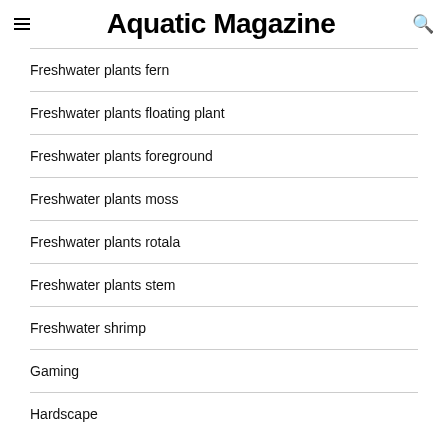Aquatic Magazine
Freshwater plants fern
Freshwater plants floating plant
Freshwater plants foreground
Freshwater plants moss
Freshwater plants rotala
Freshwater plants stem
Freshwater shrimp
Gaming
Hardscape